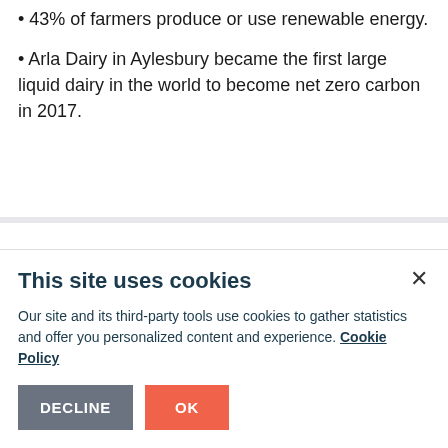• 43% of farmers produce or use renewable energy.
• Arla Dairy in Aylesbury became the first large liquid dairy in the world to become net zero carbon in 2017.
This site uses cookies
Our site and its third-party tools use cookies to gather statistics and offer you personalized content and experience. Cookie Policy
DECLINE  OK